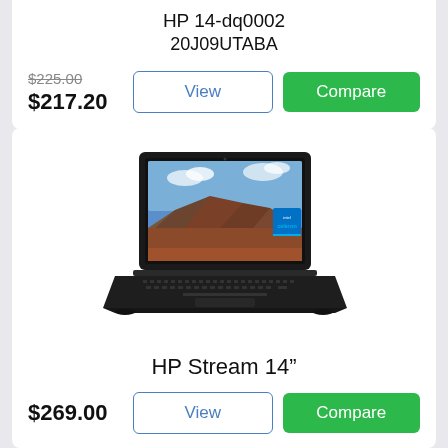HP 14-dq0002
20J09UTABA
$225.00 $217.20
[Figure (photo): HP Stream 14 inch laptop with mountain wallpaper on screen and Intel Celeron badge]
HP Stream 14”
$269.00